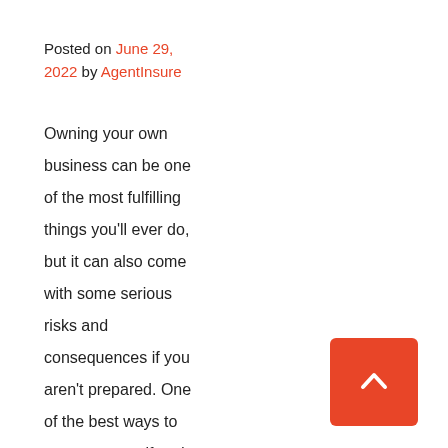Posted on June 29, 2022 by AgentInsure
Owning your own business can be one of the most fulfilling things you'll ever do, but it can also come with some serious risks and consequences if you aren't prepared. One of the best ways to protect yourself and your business is by purchasing
[Figure (other): Red back-to-top button with upward chevron arrow icon]